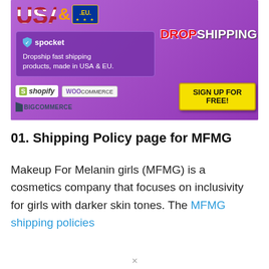[Figure (illustration): Dropshipping advertisement banner with purple background showing USA & EU flags/text, Spocket logo with tagline 'Dropship fast shipping products, made in USA & EU.', Shopify, WooCommerce, and BigCommerce platform logos, a DROPSHIPPING headline, fashion models, and a yellow SIGN UP FOR FREE! call-to-action button.]
01. Shipping Policy page for MFMG
Makeup For Melanin girls (MFMG) is a cosmetics company that focuses on inclusivity for girls with darker skin tones. The MFMG shipping policies